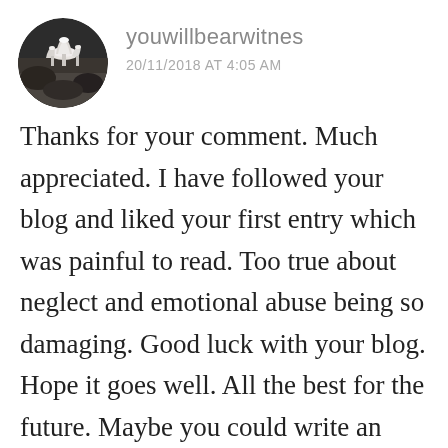[Figure (photo): Circular avatar photo showing white fungi/mushrooms growing on dark bark or rock surface]
youwillbearwitnes
20/11/2018 AT 4:05 AM
Thanks for your comment. Much appreciated. I have followed your blog and liked your first entry which was painful to read. Too true about neglect and emotional abuse being so damaging. Good luck with your blog. Hope it goes well. All the best for the future. Maybe you could write an article I could publish on my blog. All credit would go to you and a direct link